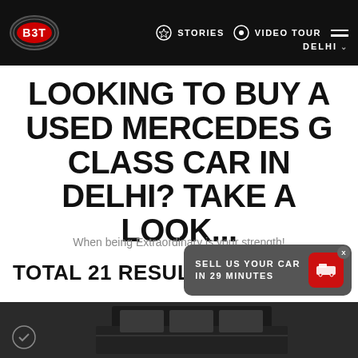BBT | STORIES | VIDEO TOUR | DELHI
LOOKING TO BUY A USED MERCEDES G CLASS CAR IN DELHI? TAKE A LOOK...
When being Extraordinary is your strength!
TOTAL 21 RESULTS FOUND
SELL US YOUR CAR IN 29 MINUTES
[Figure (photo): Dark SUV (Mercedes G Class) partially visible at the bottom of the page]